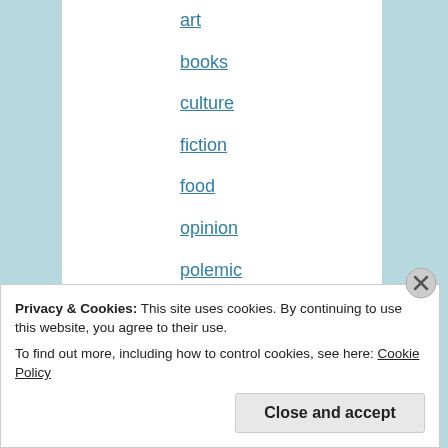art
books
culture
fiction
food
opinion
polemic
report
reportage
review
Uncategorized
Privacy & Cookies: This site uses cookies. By continuing to use this website, you agree to their use.
To find out more, including how to control cookies, see here: Cookie Policy
Close and accept